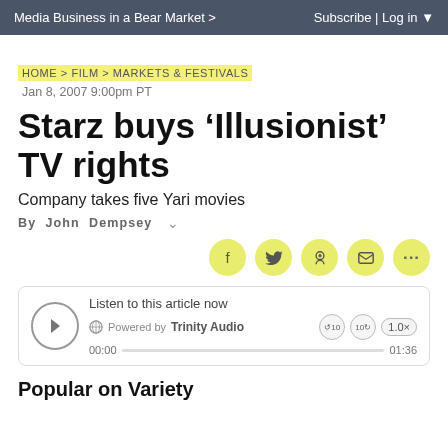Media Business in a Bear Market > | Subscribe | Log in
HOME > FILM > MARKETS & FESTIVALS
Jan 8, 2007 9:00pm PT
Starz buys ‘Illusionist’ TV rights
Company takes five Yari movies
By John Dempsey
Listen to this article now
Powered by Trinity Audio
00:00 01:36
Popular on Variety